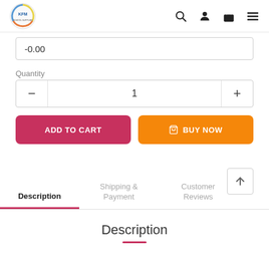[Figure (logo): KFM school/art supplies store logo — circular design with colorful icons]
-0.00
Quantity
1
ADD TO CART
BUY NOW
Description
Shipping & Payment
Customer Reviews
Description